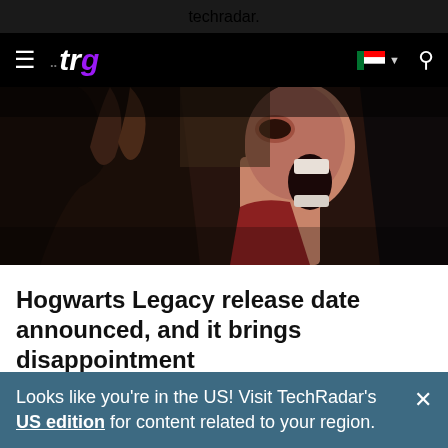techradar.
[Figure (screenshot): TechRadar navigation bar with hamburger menu, :trg logo, UAE flag country selector, and search icon on black background]
[Figure (photo): Dark, dramatic screenshot from Hogwarts Legacy video game showing a screaming humanoid creature with horns]
Hogwarts Legacy release date announced, and it brings disappointment
Looks like you're in the US! Visit TechRadar's US edition for content related to your region.